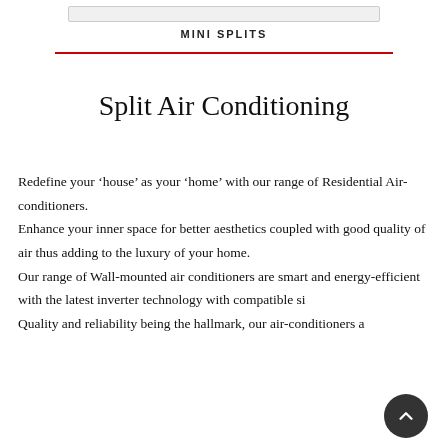MINI SPLITS
Split Air Conditioning
Redefine your ‘house’ as your ‘home’ with our range of Residential Air-conditioners.
Enhance your inner space for better aesthetics coupled with good quality of air thus adding to the luxury of your home.
Our range of Wall-mounted air conditioners are smart and energy-efficient with the latest inverter technology with compatible si
Quality and reliability being the hallmark, our air-conditioners a